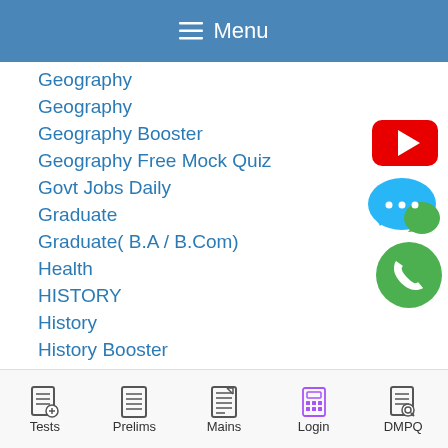Menu
Geography
Geography
Geography Booster
Geography Free Mock Quiz
Govt Jobs Daily
Graduate
Graduate( B.A / B.Com)
Health
HISTORY
History
History Booster
[Figure (logo): YouTube logo - red rectangle with white play triangle]
[Figure (logo): Chat bubble icon - blue and green speech bubbles with ellipsis]
[Figure (logo): WhatsApp logo - green circle with white phone handset]
Tests  Prelims  Mains  Login  DMPQ